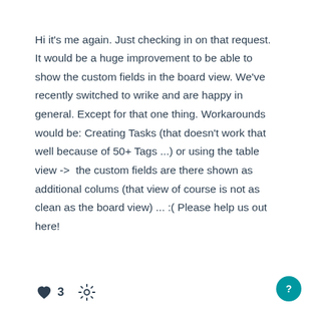Hi it's me again. Just checking in on that request. It would be a huge improvement to be able to show the custom fields in the board view. We've recently switched to wrike and are happy in general. Except for that one thing. Workarounds would be: Creating Tasks (that doesn't work that well because of 50+ Tags ...) or using the table view ->  the custom fields are there shown as additional colums (that view of course is not as clean as the board view) ... :( Please help us out here!
[Figure (infographic): Heart icon with like count of 3, a gear/settings icon, and a teal circular button with a question mark icon on the right]